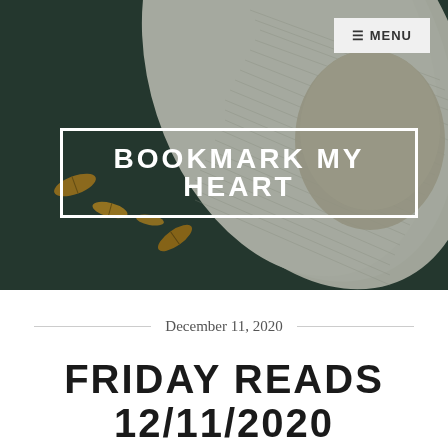[Figure (photo): Hero banner image showing an open book with handwritten pages and autumn leaves on a dark green background, with 'Bookmark My Heart' text visible in script lettering]
≡ MENU
BOOKMARK MY HEART
December 11, 2020
FRIDAY READS 12/11/2020